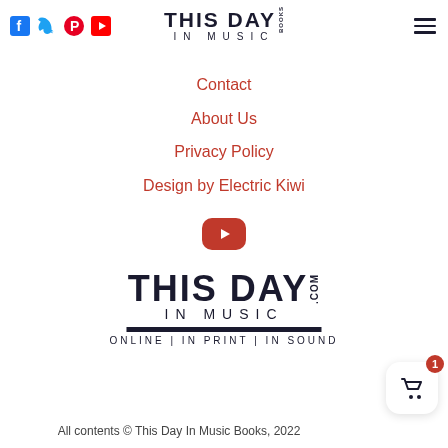[Figure (logo): Social media icons: Facebook (blue), Twitter (blue), Pinterest (red), YouTube (red)]
[Figure (logo): This Day In Music Books logo - top header]
[Figure (logo): Hamburger menu icon]
Contact
About Us
Privacy Policy
Design by Electric Kiwi
[Figure (logo): YouTube play button red icon]
[Figure (logo): This Day In Music .com logo - ONLINE | IN PRINT | IN SOUND]
All contents © This Day In Music Books, 2022